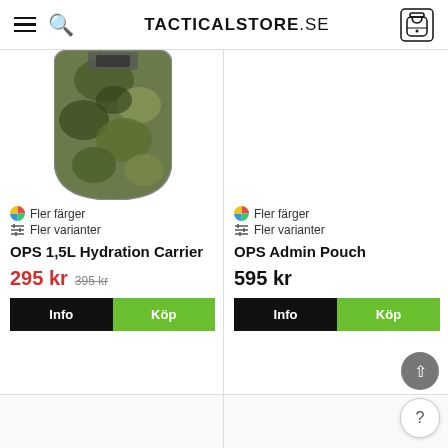TACTICALSTORE.SE
[Figure (photo): OPS 1,5L Hydration Carrier product photo in camouflage pattern]
🎨 Fler färger
⚙ Fler varianter
OPS 1,5L Hydration Carrier
295 kr  395 kr
Fler färger
Fler varianter
OPS Admin Pouch
595 kr